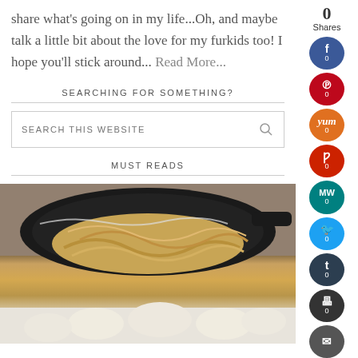share what's going on in my life...Oh, and maybe talk a little bit about the love for my furkids too! I hope you'll stick around... Read More...
SEARCHING FOR SOMETHING?
SEARCH THIS WEBSITE
MUST READS
[Figure (photo): A cast iron skillet with egg noodles and a creamy dish, plus a second food image below it]
0 Shares
Facebook: 0
Pinterest: 0
Yummly: 0
Reddit: 0
MeWe: 0
Twitter: 0
Tumblr: 0
Print: 0
Email: 0